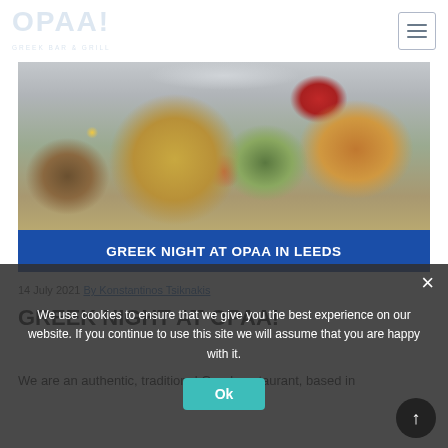OPAA! Greek Bar & Grill
[Figure (photo): Greek food spread with sardines, moussaka, olives, salad, skewers, and cherry tomatoes. Blue banner below reads GREEK NIGHT AT OPAA IN LEEDS]
14 July 2021 By Konstantinos Tsiknakis
GREEK NIGHT AT OPAA!
We are an authentic, traditional Greek restaurant, based in
We use cookies to ensure that we give you the best experience on our website. If you continue to use this site we will assume that you are happy with it.